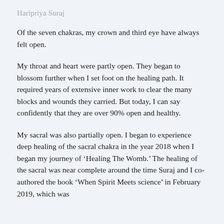Haripriya Suraj
Of the seven chakras, my crown and third eye have always felt open.
My throat and heart were partly open. They began to blossom further when I set foot on the healing path. It required years of extensive inner work to clear the many blocks and wounds they carried. But today, I can say confidently that they are over 90% open and healthy.
My sacral was also partially open. I began to experience deep healing of the sacral chakra in the year 2018 when I began my journey of ‘Healing The Womb.’ The healing of the sacral was near complete around the time Suraj and I co-authored the book ‘When Spirit Meets science’ in February 2019, which was